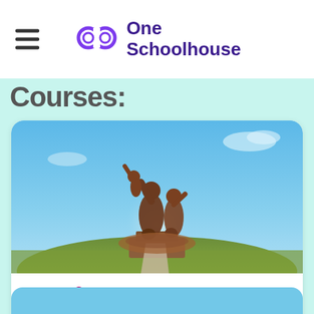One Schoolhouse
Courses:
[Figure (photo): Large bronze sculpture of human figures against a blue sky, depicting the Monument of African Renaissance in Dakar, Senegal. Three figures are shown — an adult male pointing forward, an adult female, and a child being lifted up.]
AP® French Language and Culture